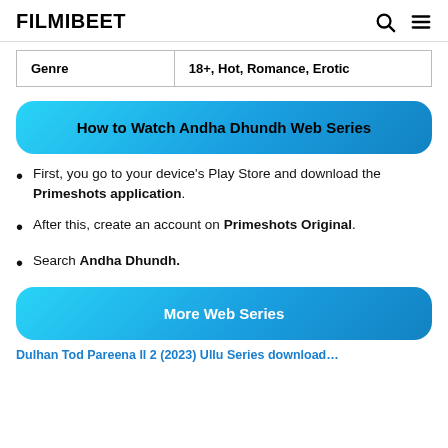FILMIBEET
| Genre | 18+, Hot, Romance, Erotic |
| --- | --- |
How to Watch Andha Dhundh Web Series
First, you go to your device's Play Store and download the Primeshots application.
After this, create an account on Primeshots Original.
Search Andha Dhundh.
More Web Series
Dulhan Tod Pareena ll 2 (2023) Ullu Series download...